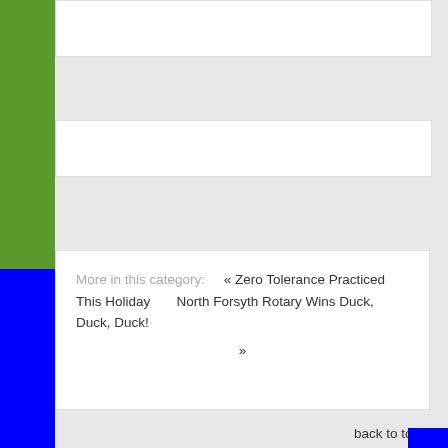More in this category: « Zero Tolerance Practiced This Holiday   North Forsyth Rotary Wins Duck, Duck, Duck! »
back to top